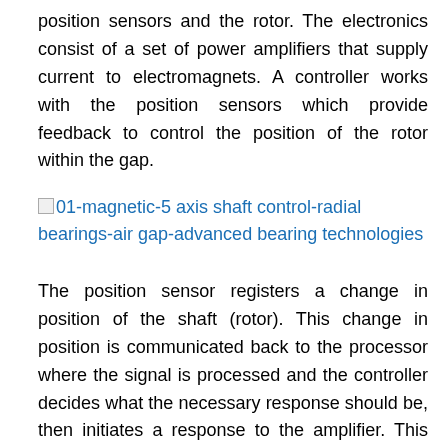position sensors and the rotor. The electronics consist of a set of power amplifiers that supply current to electromagnets. A controller works with the position sensors which provide feedback to control the position of the rotor within the gap.
[Figure (other): Broken image link: 01-magnetic-5 axis shaft control-radial bearings-air gap-advanced bearing technologies]
The position sensor registers a change in position of the shaft (rotor). This change in position is communicated back to the processor where the signal is processed and the controller decides what the necessary response should be, then initiates a response to the amplifier. This response should then increase the magnetic force in the corresponding electromagnet in order to bring the shaft back to center. In a typical system, the radial clearance